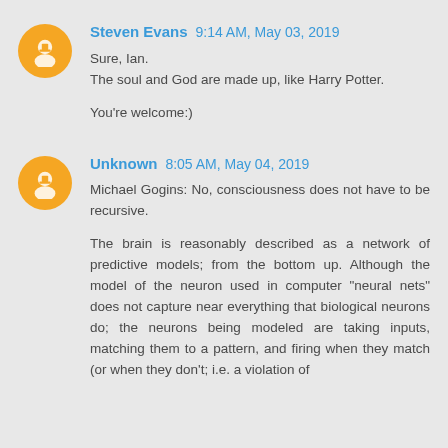Steven Evans 9:14 AM, May 03, 2019
Sure, Ian.
The soul and God are made up, like Harry Potter.

You're welcome:)
Unknown 8:05 AM, May 04, 2019
Michael Gogins: No, consciousness does not have to be recursive.

The brain is reasonably described as a network of predictive models; from the bottom up. Although the model of the neuron used in computer "neural nets" does not capture near everything that biological neurons do; the neurons being modeled are taking inputs, matching them to a pattern, and firing when they match (or when they don't; i.e. a violation of